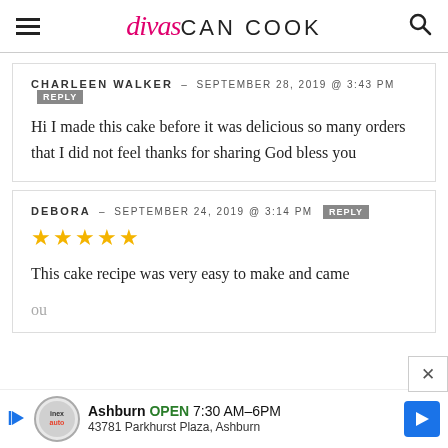divas CAN COOK
CHARLEEN WALKER – SEPTEMBER 28, 2019 @ 3:43 PM REPLY
Hi I made this cake before it was delicious so many orders that I did not feel thanks for sharing God bless you
DEBORA – SEPTEMBER 24, 2019 @ 3:14 PM REPLY
★★★★★
This cake recipe was very easy to make and came ou... rec...
[Figure (other): Advertisement banner for Ashburn auto business: OPEN 7:30AM-6PM, 43781 Parkhurst Plaza, Ashburn]